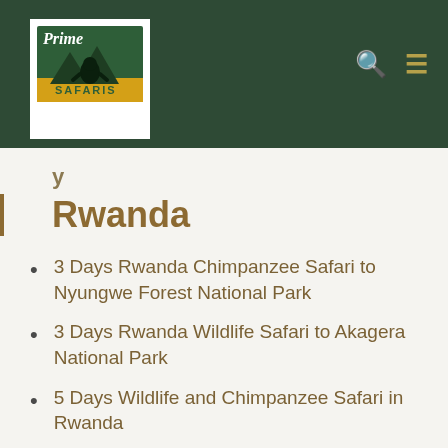[Figure (logo): Prime Safaris logo: green and white with gorilla illustration and yellow banner]
Rwanda
3 Days Rwanda Chimpanzee Safari to Nyungwe Forest National Park
3 Days Rwanda Wildlife Safari to Akagera National Park
5 Days Wildlife and Chimpanzee Safari in Rwanda
5 Days Rwanda Adventure Safari Tour